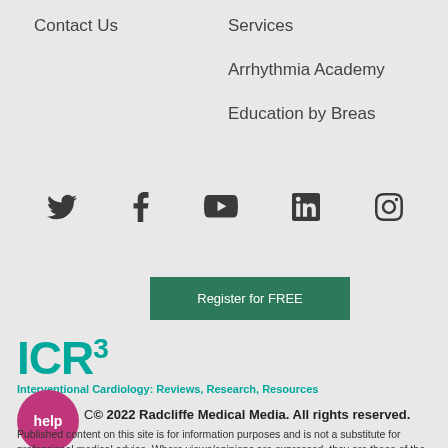Contact Us
Services
Arrhythmia Academy
Education by Breas
[Figure (infographic): Social media icons row: Twitter, Facebook, YouTube, LinkedIn, Instagram]
Register for FREE
[Figure (logo): ICR3 logo with superscript 3 in teal, subtitle: Interventional Cardiology: Reviews, Research, Resources]
[Figure (logo): Circular magenta help button with text 'help']
© 2022 Radcliffe Medical Media. All rights reserved.
Published content on this site is for information purposes and is not a substitute for professional medical advice. Where views/opinions are expressed, they are those of the author(s) and not of Radcliffe Medical Media.